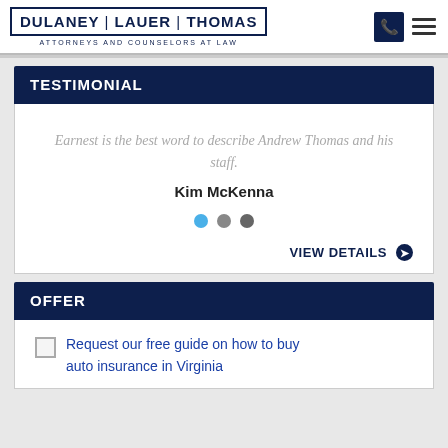DULANEY | LAUER | THOMAS — ATTORNEYS AND COUNSELORS AT LAW
TESTIMONIAL
Earnest is the best word to describe Andrew Thomas and his staff.
Kim McKenna
VIEW DETAILS
OFFER
Request our free guide on how to buy auto insurance in Virginia